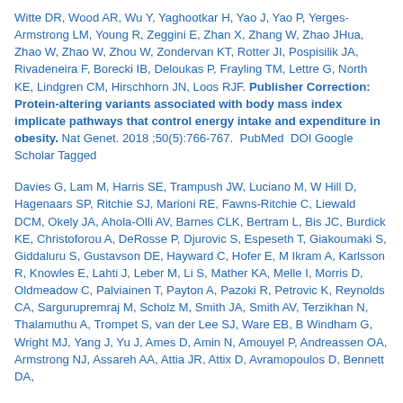Witte DR, Wood AR, Wu Y, Yaghootkar H, Yao J, Yao P, Yerges-Armstrong LM, Young R, Zeggini E, Zhan X, Zhang W, Zhao JHua, Zhao W, Zhao W, Zhou W, Zondervan KT, Rotter JI, Pospisilik JA, Rivadeneira F, Borecki IB, Deloukas P, Frayling TM, Lettre G, North KE, Lindgren CM, Hirschhorn JN, Loos RJF. Publisher Correction: Protein-altering variants associated with body mass index implicate pathways that control energy intake and expenditure in obesity. Nat Genet. 2018 ;50(5):766-767.  PubMed  DOI Google Scholar Tagged
Davies G, Lam M, Harris SE, Trampush JW, Luciano M, W Hill D, Hagenaars SP, Ritchie SJ, Marioni RE, Fawns-Ritchie C, Liewald DCM, Okely JA, Ahola-Olli AV, Barnes CLK, Bertram L, Bis JC, Burdick KE, Christoforou A, DeRosse P, Djurovic S, Espeseth T, Giakoumaki S, Giddaluru S, Gustavson DE, Hayward C, Hofer E, M Ikram A, Karlsson R, Knowles E, Lahti J, Leber M, Li S, Mather KA, Melle I, Morris D, Oldmeadow C, Palviainen T, Payton A, Pazoki R, Petrovic K, Reynolds CA, Sargurupremraj M, Scholz M, Smith JA, Smith AV, Terzikhan N, Thalamuthu A, Trompet S, van der Lee SJ, Ware EB, B Windham G, Wright MJ, Yang J, Yu J, Ames D, Amin N, Amouyel P, Andreassen OA, Armstrong NJ, Assareh AA, Attia JR, Attix D, Avramopoulos D, Bennett DA,